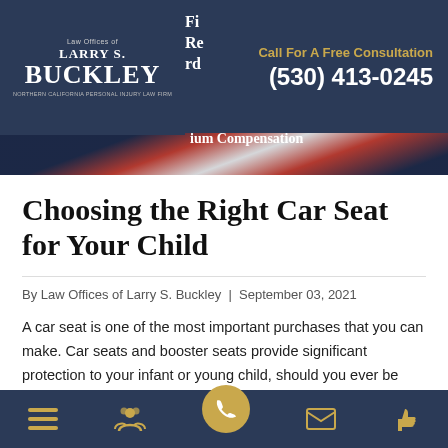Law Offices of Larry S. Buckley | Northern California Personal Injury Law Firm | Call For A Free Consultation (530) 413-0245 | Fight. Recover. Reward. Maximum Compensation
Choosing the Right Car Seat for Your Child
By Law Offices of Larry S. Buckley | September 03, 2021
A car seat is one of the most important purchases that you can make. Car seats and booster seats provide significant protection to your infant or young child, should you ever be involved in an auto accident. To show just how imperative using a car seat is,
Navigation bar with menu, people, phone, mail, and thumbs-up icons